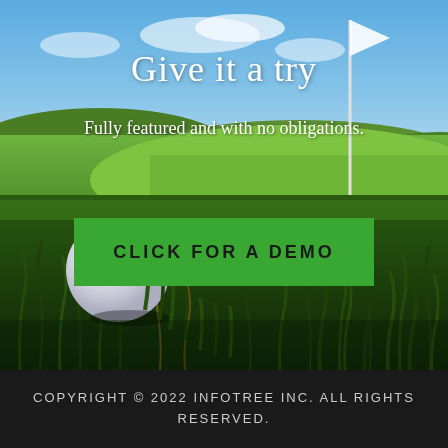[Figure (photo): Golf ball close-up on lush green grass with a golf flag in the background and blue sky, representing a golf course setting]
Give it a try
Fully featured and with no obligations.
CLICK FOR A DEMO
COPYRIGHT © 2022 INFOTREE INC. ALL RIGHTS RESERVED.